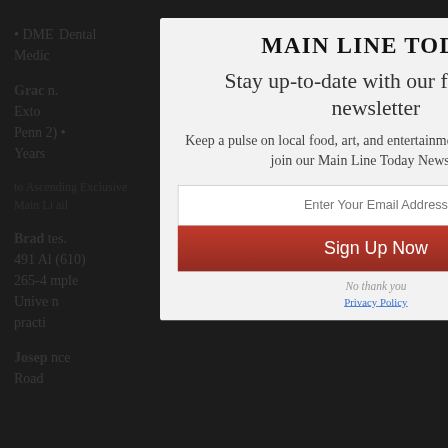[Figure (screenshot): Background page content showing partially visible article text about dental/medical professionals, dimmed and blurred behind the modal overlay]
Main Line Today
Stay up-to-date with our free email newsletter
Keep a pulse on local food, art, and entertainment content when you join our Main Line Today Newsletter.
Enter Your Email Address
Sign Up Now
No thank you
Privacy Policy